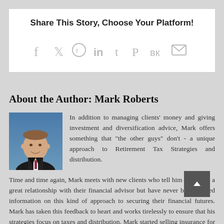Share This Story, Choose Your Platform!
[Figure (infographic): Social media sharing icons: facebook, twitter, reddit, linkedin, tumblr, pinterest, vk, email]
About the Author: Mark Roberts
[Figure (photo): Headshot photo of Mark Roberts, a man in a dark suit with a striped tie, smiling, against a blue background]
In addition to managing clients' money and giving investment and diversification advice, Mark offers something that “the other guys” don’t - a unique approach to Retirement Tax Strategies and distribution. Time and time again, Mark meets with new clients who tell him they have a great relationship with their financial advisor but have never been offered information on this kind of approach to securing their financial futures. Mark has taken this feedback to heart and works tirelessly to ensure that his strategies focus on taxes and distribution. Mark started selling insurance for a major